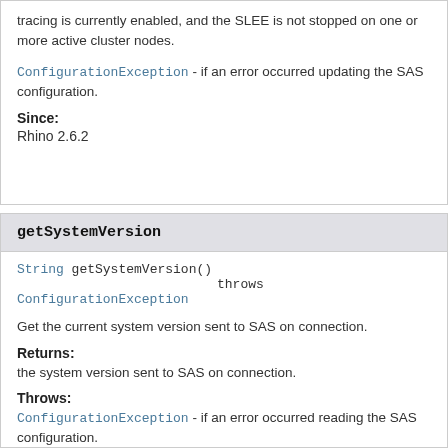tracing is currently enabled, and the SLEE is not stopped on one or more active cluster nodes.
ConfigurationException - if an error occurred updating the SAS configuration.
Since:
Rhino 2.6.2
getSystemVersion
String getSystemVersion()
                    throws ConfigurationException
Get the current system version sent to SAS on connection.
Returns:
the system version sent to SAS on connection.
Throws:
ConfigurationException - if an error occurred reading the SAS configuration.